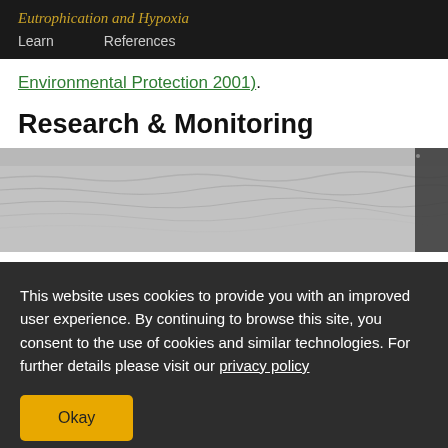Eutrophication and Hypoxia | Learn | References
Environmental Protection 2001).
Research & Monitoring
[Figure (photo): Black and white photograph of ocean water surface with waves, viewed from a vessel, with dark equipment/railing visible at right edge.]
This website uses cookies to provide you with an improved user experience. By continuing to browse this site, you consent to the use of cookies and similar technologies. For further details please visit our privacy policy
Okay